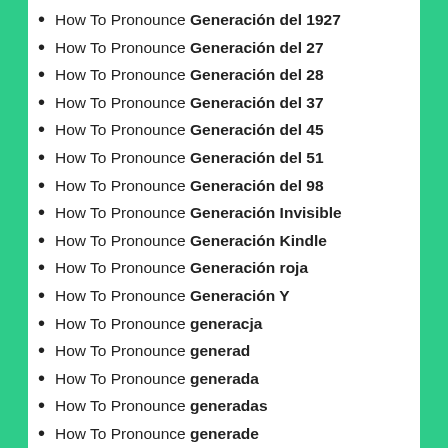How To Pronounce Generación del 1927
How To Pronounce Generación del 27
How To Pronounce Generación del 28
How To Pronounce Generación del 37
How To Pronounce Generación del 45
How To Pronounce Generación del 51
How To Pronounce Generación del 98
How To Pronounce Generación Invisible
How To Pronounce Generación Kindle
How To Pronounce Generación roja
How To Pronounce Generación Y
How To Pronounce generacja
How To Pronounce generad
How To Pronounce generada
How To Pronounce generadas
How To Pronounce generade
How To Pronounce generades
How To Pronounce generado
How To Pronounce generador
How To Pronounce generador de emergencia
How To Pronounce generadora
How To Pronounce generadoras